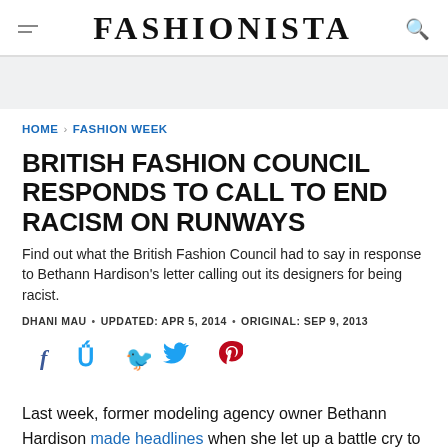FASHIONISTA
HOME › FASHION WEEK
BRITISH FASHION COUNCIL RESPONDS TO CALL TO END RACISM ON RUNWAYS
Find out what the British Fashion Council had to say in response to Bethann Hardison's letter calling out its designers for being racist.
DHANI MAU · UPDATED: APR 5, 2014 · ORIGINAL: SEP 9, 2013
[Figure (infographic): Social sharing icons: Facebook (f), Twitter (bird), Pinterest (P)]
Last week, former modeling agency owner Bethann Hardison made headlines when she let up a battle cry to